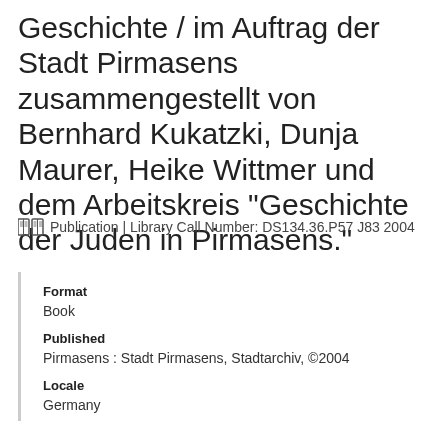Geschichte / im Auftrag der Stadt Pirmasens zusammengestellt von Bernhard Kukatzki, Dunja Maurer, Heike Wittmer und dem Arbeitskreis "Geschichte der Juden in Pirmasens."
Publication | Library Call Number: DS134.36.P57 J83 2004
Format
Book
Published
Pirmasens : Stadt Pirmasens, Stadtarchiv, ©2004
Locale
Germany